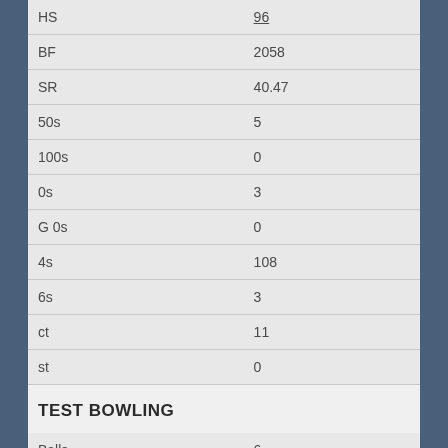| Stat | Value |
| --- | --- |
| HS | 96 |
| BF | 2058 |
| SR | 40.47 |
| 50s | 5 |
| 100s | 0 |
| 0s | 3 |
| G 0s | 0 |
| 4s | 108 |
| 6s | 3 |
| ct | 11 |
| st | 0 |
TEST BOWLING
| Stat | Value |
| --- | --- |
| Balls | 6 |
| Runs | 4 |
| Wkts | 0 |